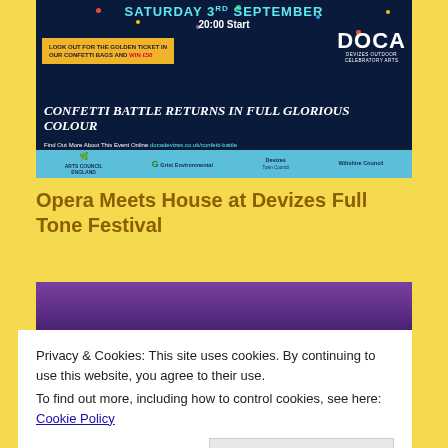[Figure (photo): Promotional banner for DOCA (Devizes Outdoor Celebratory Arts) Confetti Battle event on Saturday 3rd September, 20:00 start. Dark navy background with confetti. Golden ticket offer to win £50. Confetti Battle returns in full glorious colour. Sponsors: Arts Council England, Grist Environmental, Devizes Town Council, Wiltshire Council.]
Opera Meets House at Devizes Full Tone Festival
[Figure (photo): Photo of a performance at the Full Tone Festival showing purple lighting and performers on stage, with colorful crowd scene below.]
Privacy & Cookies: This site uses cookies. By continuing to use this website, you agree to their use.
To find out more, including how to control cookies, see here: Cookie Policy